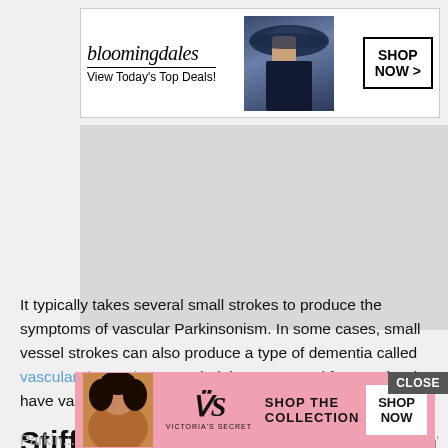[Figure (screenshot): Bloomingdale's advertisement banner: 'bloomingdales / View Today's Top Deals!' with model in blue hat and 'SHOP NOW >' button]
[Figure (screenshot): Large grey placeholder rectangle for an advertisement]
It typically takes several small strokes to produce the symptoms of vascular Parkinsonism. In some cases, small vessel strokes can also produce a type of dementia called vascular dementia. As such, it is not unusual for people who have vascular Parkinsonism to also have vascular dementia.
Stiffness And Slow Movement
[Figure (screenshot): Victoria's Secret advertisement banner: model, V logo, 'VICTORIA'S SECRET', 'SHOP THE COLLECTION', 'SHOP NOW' button]
Parkin ... You